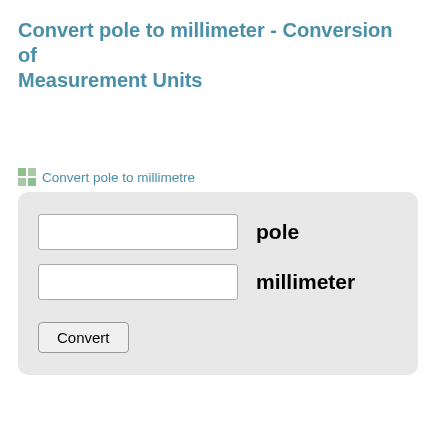Convert pole to millimeter - Conversion of Measurement Units
Convert pole to millimetre
[Figure (screenshot): A unit conversion form with two text input fields labeled 'pole' and 'millimeter', and a 'Convert' button, all inside a light gray rounded rectangle.]